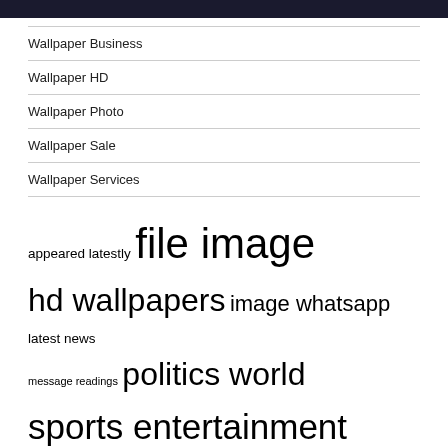Wallpaper Business
Wallpaper HD
Wallpaper Photo
Wallpaper Sale
Wallpaper Services
appeared latestly file image hd wallpapers image whatsapp latest news message readings politics world sports entertainment story appeared united states updates politics website latestly whatsapp message world sports